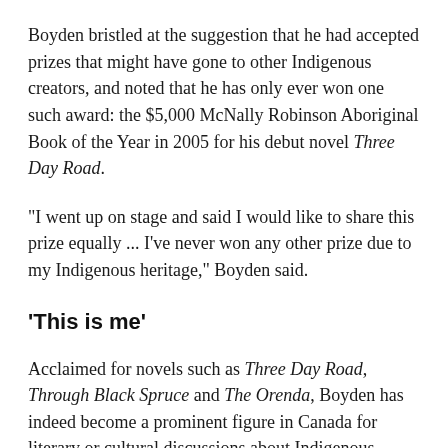Boyden bristled at the suggestion that he had accepted prizes that might have gone to other Indigenous creators, and noted that he has only ever won one such award: the $5,000 McNally Robinson Aboriginal Book of the Year in 2005 for his debut novel Three Day Road.
"I went up on stage and said I would like to share this prize equally ... I've never won any other prize due to my Indigenous heritage," Boyden said.
'This is me'
Acclaimed for novels such as Three Day Road, Through Black Spruce and The Orenda, Boyden has indeed become a prominent figure in Canada for literary or cultural discussions about Indigenous issues. His most